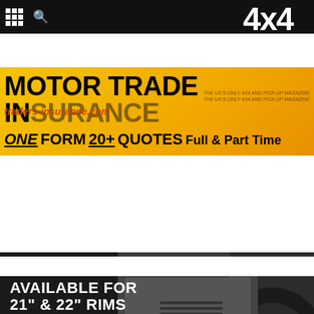[Figure (screenshot): Website navigation bar with grid icon, search icon on dark background, and 4x4 magazine logo on the right]
[Figure (infographic): Motor Trade Insurance advertisement banner with yellow/orange background. Text reads: MOTOR TRADE INSURANCE, ONE FORM 20+ QUOTES Full & Part Time, traders-insurance.com]
[Figure (infographic): General Tire advertisement banner with dark background and SUV photo. Text reads: GRABBER AT3 AVAILABLE FOR 21" & 22" RIMS, CLICK TO FIND OUT MORE, GENERAL TIRE GT logo]
[Figure (infographic): Blue footer bar with back-to-top arrow button]